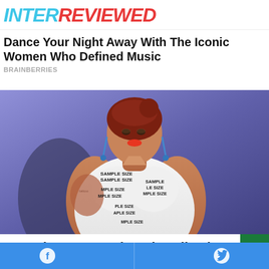INTERREVIEWED
Dance Your Night Away With The Iconic Women Who Defined Music
BRAINBERRIES
[Figure (photo): A plus-size woman wearing a white dress covered with 'SAMPLE SIZE' text labels, walking on a runway. She has red hair pulled back, tattoos on both arms, and is wearing dangling earrings. The background is purple/blue stage lighting.]
Meet The Hottest Plus Size TikTokers Of The Mo…
Facebook share | Twitter share